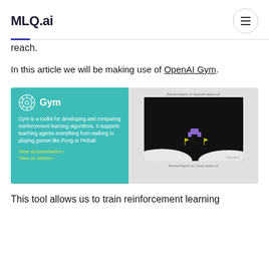MLQ.ai
reach.
In this article we will be making use of OpenAI Gym.
[Figure (screenshot): OpenAI Gym promotional card (teal background) showing the Gym logo and description: 'Gym is a toolkit for developing and comparing reinforcement learning algorithms. It supports teaching agents everything from walking to playing games like Pong or Pinball.' With links 'View documentation ›' and 'View on GitHub ›'. Beside it, a screenshot showing a RandomAgent on SpaceInvaders-v0 at top and RandomAgent on LunarLander-v2 at bottom.]
This tool allows us to train reinforcement learning